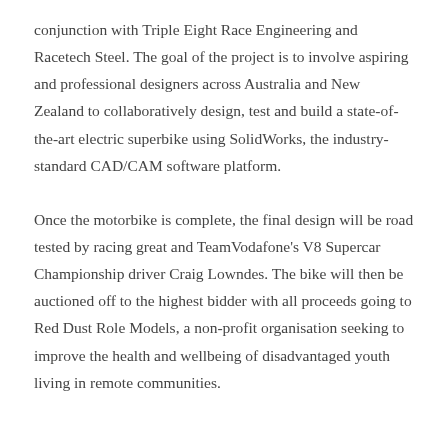conjunction with Triple Eight Race Engineering and Racetech Steel. The goal of the project is to involve aspiring and professional designers across Australia and New Zealand to collaboratively design, test and build a state-of-the-art electric superbike using SolidWorks, the industry-standard CAD/CAM software platform.

Once the motorbike is complete, the final design will be road tested by racing great and TeamVodafone's V8 Supercar Championship driver Craig Lowndes. The bike will then be auctioned off to the highest bidder with all proceeds going to Red Dust Role Models, a non-profit organisation seeking to improve the health and wellbeing of disadvantaged youth living in remote communities.